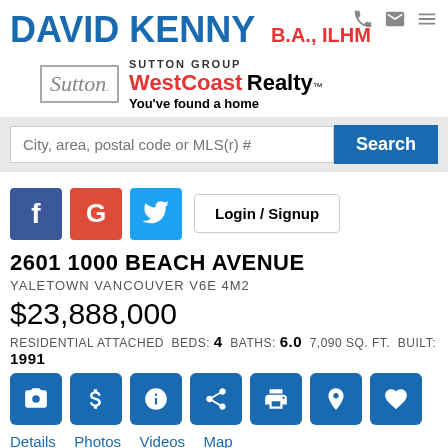DAVID KENNY B.A., ILHM
[Figure (logo): Sutton Group WestCoast Realty logo — You've found a home]
City, area, postal code or MLS(r) #   Search
[Figure (infographic): Facebook, Google, Twitter social login buttons and Login / Signup button]
2601 1000 BEACH AVENUE
YALETOWN VANCOUVER V6E 4M2
$23,888,000
RESIDENTIAL ATTACHED BEDS: 4 BATHS: 6.0 7,090 SQ. FT. BUILT: 1991
[Figure (infographic): 7 action icon buttons: camera, dollar sign, info, share, print, location pin, heart — all in blue squares]
Details  Photos  Videos  Map